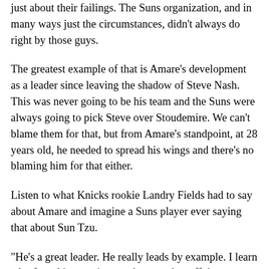just about their failings. The Suns organization, and in many ways just the circumstances, didn't always do right by those guys.
The greatest example of that is Amare's development as a leader since leaving the shadow of Steve Nash. This was never going to be his team and the Suns were always going to pick Steve over Stoudemire. We can't blame them for that, but from Amare's standpoint, at 28 years old, he needed to spread his wings and there's no blaming him for that either.
Listen to what Knicks rookie Landry Fields had to say about Amare and imagine a Suns player ever saying that about Sun Tzu.
"He's a great leader. He really leads by example. I learn a lot from him, not just on the court but off the